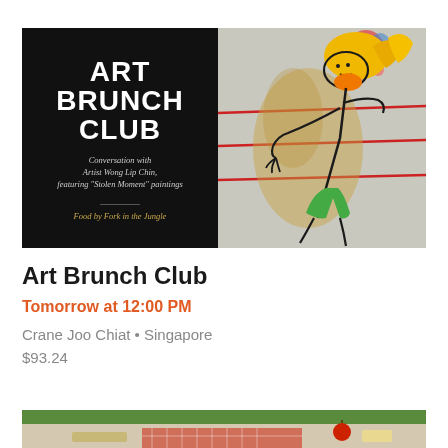[Figure (illustration): Art Brunch Club event banner split into two halves: left half is black background with white bold text 'ART BRUNCH CLUB', italic subtitle 'Conversation with Artist Wong Lip Chin, featuring "Stolen Moment" paintings', and gold italic text 'Food by Fork in the Jungle'; right half shows a colorful painting of a cartoon-style figure with blonde hair, green clothing, against a grey background with red lines and colorful splatter.]
Art Brunch Club
Tomorrow at 12:00 PM
Crane Joo Chiat • Singapore
$93.24
[Figure (photo): Partial bottom image showing what appears to be food items on a picnic/table setting with red checkered cloth and various food items visible.]